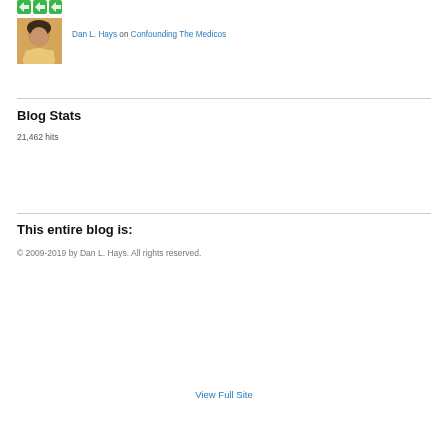[Figure (logo): Green decorative logo/icon in top left]
Dan L. Hays on Confounding The Medicos
Blog Stats
21,462 hits
This entire blog is:
© 2009-2019 by Dan L. Hays. All rights reserved.
View Full Site